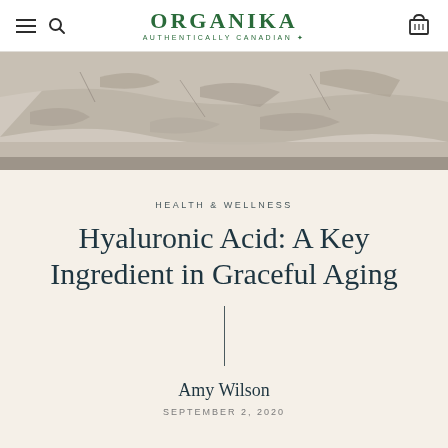ORGANIKA AUTHENTICALLY CANADIAN
[Figure (photo): Close-up photo of cracked and peeling white/grey paint or plaster surface, abstract texture]
HEALTH & WELLNESS
Hyaluronic Acid: A Key Ingredient in Graceful Aging
Amy Wilson
SEPTEMBER 2, 2020